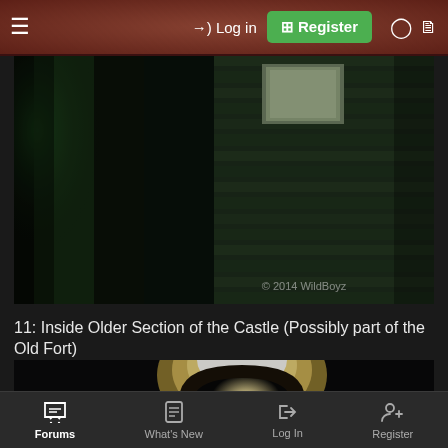≡  → Log in  ⊞ Register  ◐  ❑
[Figure (photo): Dark interior of old stone castle wall with green-lit pillar on left, a small window with outdoor daylight visible in upper center, and rough stone masonry walls. Watermark reads '© 2014 WildBoyz']
11: Inside Older Section of the Castle (Possibly part of the Old Fort)
[Figure (photo): Dark interior of stone castle/fort showing a lit arched doorway or window opening with bright white light coming through, silhouetting the arch and surrounding dark stone walls]
Forums  What's New  Log In  Register